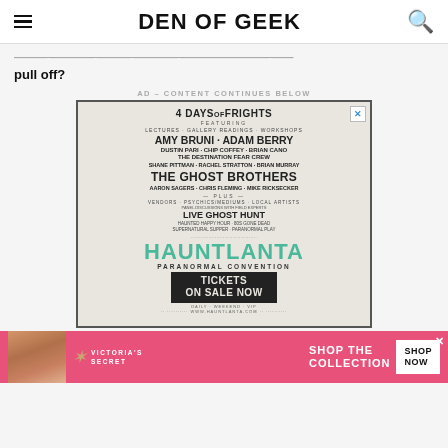DEN OF GEEK
pull off?
AD – CONTENT CONTINUES BELOW
[Figure (photo): Advertisement for Hauntlanta Paranormal Convention: '4 Days of Frights' featuring Amy Bruni, Adam Berry, Dustin Pari, Chip Coffey, Brian Cano, The Destination Fear Crew, Shane Pittman, Rachel Stratton, Brian Murray, The Ghost Brothers, Aaron Sagers, Chris Fleming, Mike Ricksecker. Plus vendors, psychics/mediums, local artists, live ghost hunt, haunted happy hour, 80s gone dead, supernatural supper, paranormal play. Hauntlanta Paranormal Convention. Tickets on sale now. www.hauntlanta.com]
[Figure (photo): Victoria's Secret advertisement: Shop the Collection. Shop Now.]